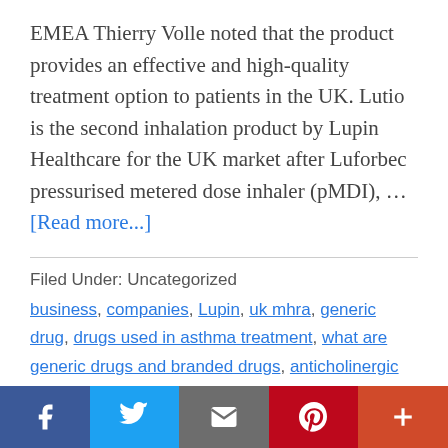EMEA Thierry Volle noted that the product provides an effective and high-quality treatment option to patients in the UK. Lutio is the second inhalation product by Lupin Healthcare for the UK market after Luforbec pressurised metered dose inhaler (pMDI), … [Read more...]
Filed Under: Uncategorized
business, companies, Lupin, uk mhra, generic drug, drugs used in asthma treatment, what are generic drugs and branded drugs, anticholinergic drugs for copd, list of generic drugs, manufacturers of generic drugs, fda